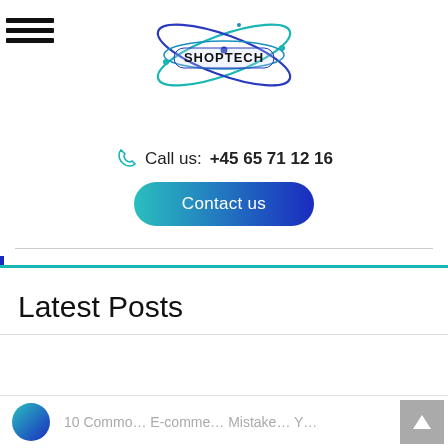[Figure (logo): Shoptech logo with orbital rings and dot accent, text SHOPTECH in bold black with satellite-like arcs]
Call us: +45 65 71 12 16
Contact us
OTHER CONTENT
Latest Posts